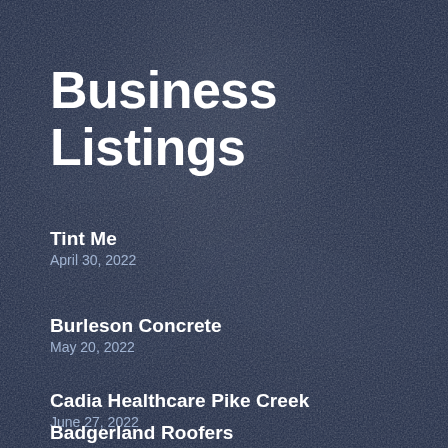Business Listings
Tint Me
April 30, 2022
Burleson Concrete
May 20, 2022
Cadia Healthcare Pike Creek
June 27, 2022
Badgerland Roofers